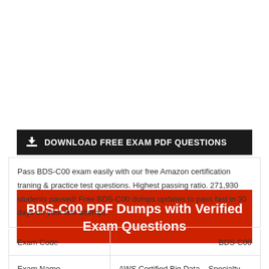DOWNLOAD FREE EXAM PDF QUESTIONS
BDS-C00 PDF Dumps with Verified Exam Questions
Pass BDS-C00 exam easily with our free Amazon certification traning & practice test questions. Highest passing ratio. 271,930 students passed! Free BDS-C00 dumps updates to pass fast in 30 days on your first attempt.
|  |  |
| --- | --- |
| Exam Code | BDS-C00 |
| Exam Name | AWS Certified Big Data – Specialty Exam |